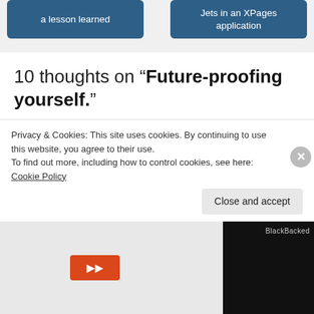a lesson learned | Jets in an XPages application
10 thoughts on “Future-proofing yourself.”
Tim Tripcony (@timtripcony)
October 27, 2013 at 8:45 pm
Great minds think alike, my friend. JavaScript is, simply put, the language of the web. I still believe that its very
Privacy & Cookies: This site uses cookies. By continuing to use this website, you agree to their use.
To find out more, including how to control cookies, see here: Cookie Policy
Close and accept